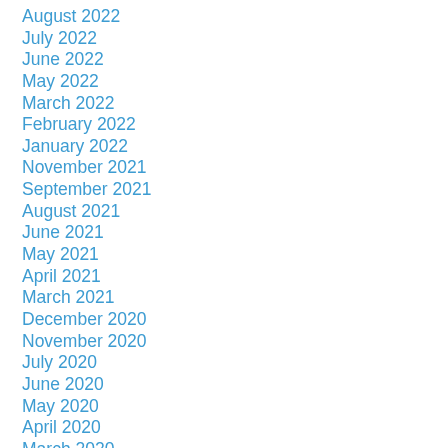August 2022
July 2022
June 2022
May 2022
March 2022
February 2022
January 2022
November 2021
September 2021
August 2021
June 2021
May 2021
April 2021
March 2021
December 2020
November 2020
July 2020
June 2020
May 2020
April 2020
March 2020